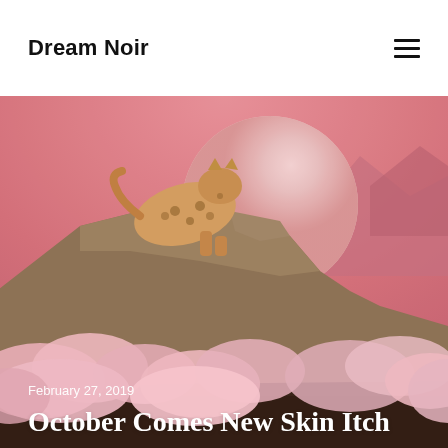Dream Noir
[Figure (illustration): Surreal pink-toned collage art featuring a leopard perched on rocky mountain peaks with a large full moon behind it and pink-hued clouds in the foreground against a rosy sky]
February 27, 2019
October Comes New Skin Itch